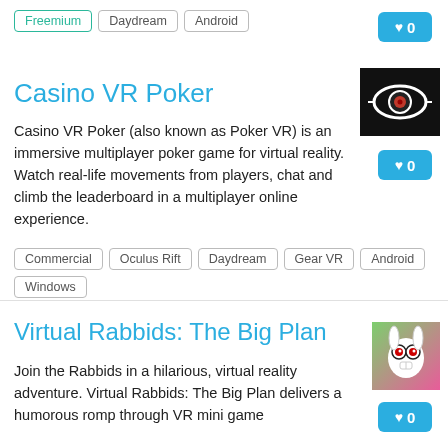Freemium  Daydream  Android
Casino VR Poker
Casino VR Poker (also known as Poker VR) is an immersive multiplayer poker game for virtual reality. Watch real-life movements from players, chat and climb the leaderboard in a multiplayer online experience.
Commercial  Oculus Rift  Daydream  Gear VR  Android  Windows
[Figure (photo): Casino VR Poker app thumbnail - dark background with an eye icon containing a red pupil]
Virtual Rabbids: The Big Plan
Join the Rabbids in a hilarious, virtual reality adventure. Virtual Rabbids: The Big Plan delivers a humorous romp through VR mini game
[Figure (photo): Virtual Rabbids: The Big Plan app thumbnail - colorful Rabbid character on green/pink background]